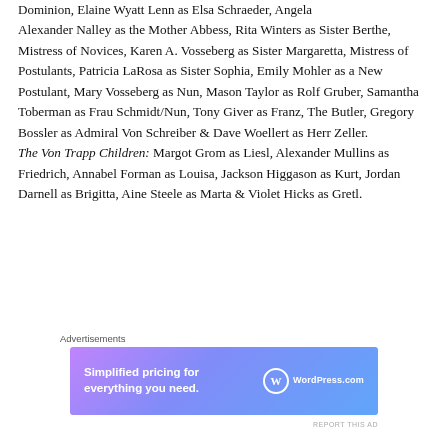Dominion, Elaine Wyatt Lenn as Elsa Schraeder, Angela Alexander Nalley as the Mother Abbess, Rita Winters as Sister Berthe, Mistress of Novices, Karen A. Vosseberg as Sister Margaretta, Mistress of Postulants, Patricia LaRosa as Sister Sophia, Emily Mohler as a New Postulant, Mary Vosseberg as Nun, Mason Taylor as Rolf Gruber, Samantha Toberman as Frau Schmidt/Nun, Tony Giver as Franz, The Butler, Gregory Bossler as Admiral Von Schreiber & Dave Woellert as Herr Zeller. The Von Trapp Children: Margot Grom as Liesl, Alexander Mullins as Friedrich, Annabel Forman as Louisa, Jackson Higgason as Kurt, Jordan Darnell as Brigitta, Aine Steele as Marta & Violet Hicks as Gretl.
[Figure (other): WordPress.com advertisement banner with gradient purple-blue background. Left side text: 'Simplified pricing for everything you need.' Right side: WordPress.com logo with W icon.]